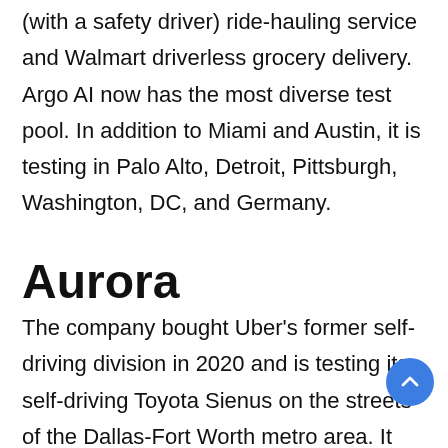(with a safety driver) ride-hauling service and Walmart driverless grocery delivery. Argo AI now has the most diverse test pool. In addition to Miami and Austin, it is testing in Palo Alto, Detroit, Pittsburgh, Washington, DC, and Germany.
Aurora
The company bought Uber's former self-driving division in 2020 and is testing its self-driving Toyota Sienus on the streets of the Dallas-Fort Worth metro area. It plans to launch a ride-hailing service with Uber in 2024. Although, perhaps more interestingly, it announced this month that it is